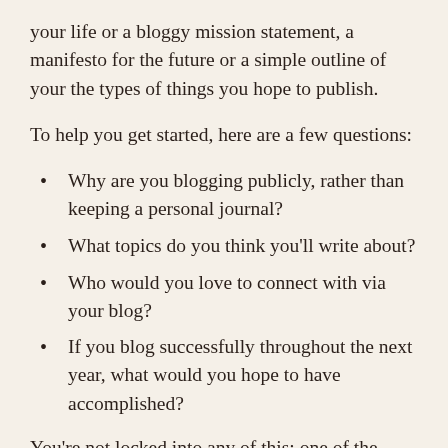your life or a bloggy mission statement, a manifesto for the future or a simple outline of your the types of things you hope to publish.
To help you get started, here are a few questions:
Why are you blogging publicly, rather than keeping a personal journal?
What topics do you think you'll write about?
Who would you love to connect with via your blog?
If you blog successfully throughout the next year, what would you hope to have accomplished?
You're not locked into any of this; one of the wonderful things about blogs is how they